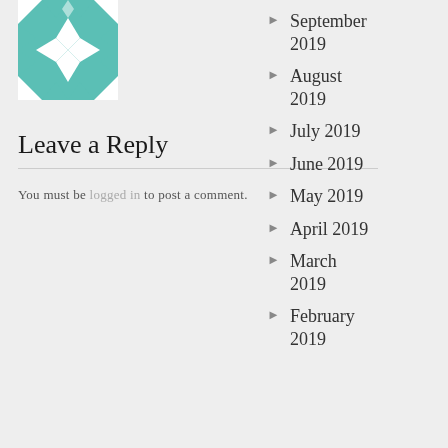[Figure (logo): Teal/turquoise quilt pattern logo with geometric star design]
Leave a Reply
You must be logged in to post a comment.
September 2019
August 2019
July 2019
June 2019
May 2019
April 2019
March 2019
February 2019